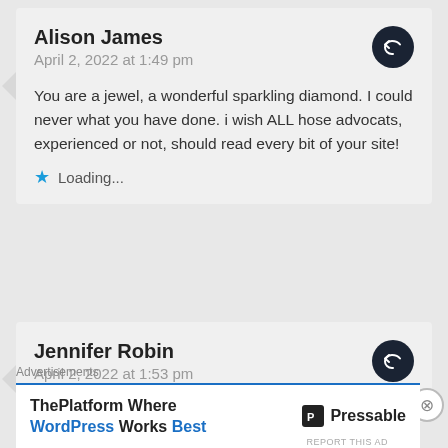Alison James
April 2, 2022 at 1:49 pm
You are a jewel, a wonderful sparkling diamond. I could never what you have done. i wish ALL hose advocats, experienced or not, should read every bit of your site!
Loading...
Jennifer Robin
April 2, 2022 at 1:53 pm
Advertisements
ThePlatform Where WordPress Works Best
Pressable